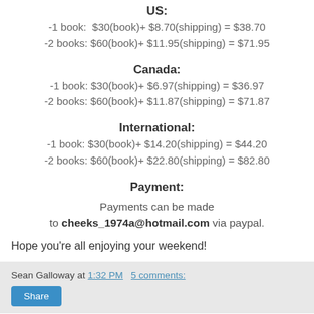US:
-1 book:  $30(book)+ $8.70(shipping) = $38.70
-2 books: $60(book)+ $11.95(shipping) = $71.95
Canada:
-1 book: $30(book)+ $6.97(shipping) = $36.97
-2 books: $60(book)+ $11.87(shipping) = $71.87
International:
-1 book: $30(book)+ $14.20(shipping) = $44.20
-2 books: $60(book)+ $22.80(shipping) = $82.80
Payment:
Payments can be made to cheeks_1974a@hotmail.com via paypal.
Hope you’re all enjoying your weekend!
Sean Galloway at 1:32 PM   5 comments: